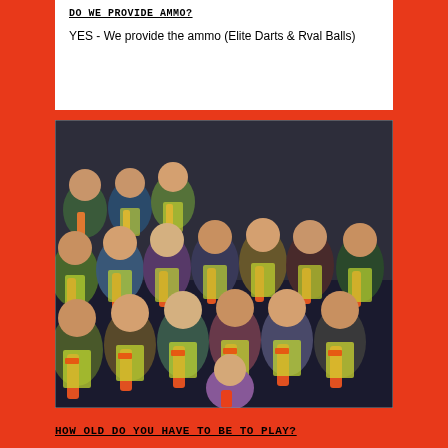DO WE PROVIDE AMMO?
YES - We provide the ammo (Elite Darts & Rval Balls)
[Figure (photo): Large group of children and teenagers wearing safety vests and holding Nerf guns, pointing them at the camera in an indoor arena setting.]
HOW OLD DO YOU HAVE TO BE TO PLAY?